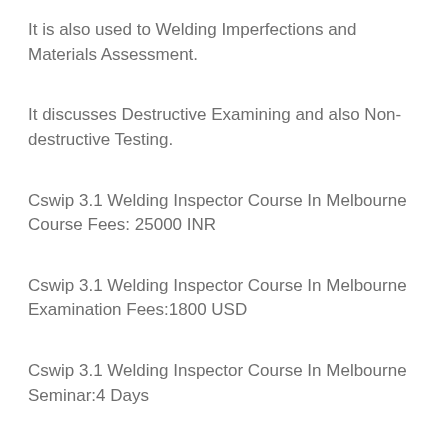It is also used to Welding Imperfections and Materials Assessment.
It discusses Destructive Examining and also Non-destructive Testing.
Cswip 3.1 Welding Inspector Course In Melbourne Course Fees: 25000 INR
Cswip 3.1 Welding Inspector Course In Melbourne Examination Fees:1800 USD
Cswip 3.1 Welding Inspector Course In Melbourne Seminar:4 Days